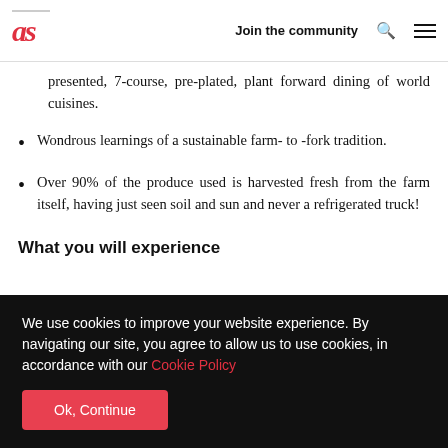as | Join the community
presented, 7-course, pre-plated, plant forward dining of world cuisines.
Wondrous learnings of a sustainable farm- to -fork tradition.
Over 90% of the produce used is harvested fresh from the farm itself, having just seen soil and sun and never a refrigerated truck!
What you will experience
We use cookies to improve your website experience. By navigating our site, you agree to allow us to use cookies, in accordance with our Cookie Policy
Ok, Continue